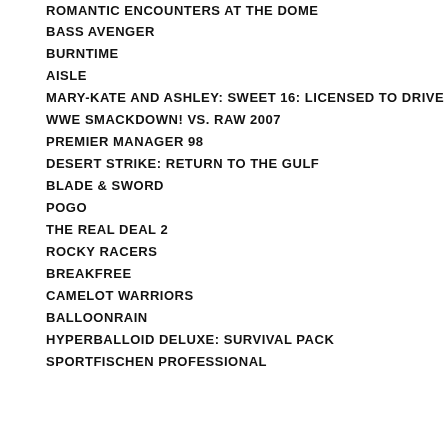ROMANTIC ENCOUNTERS AT THE DOME
BASS AVENGER
BURNTIME
AISLE
MARY-KATE AND ASHLEY: SWEET 16: LICENSED TO DRIVE
WWE SMACKDOWN! VS. RAW 2007
PREMIER MANAGER 98
DESERT STRIKE: RETURN TO THE GULF
BLADE & SWORD
POGO
THE REAL DEAL 2
ROCKY RACERS
BREAKFREE
CAMELOT WARRIORS
BALLOONRAIN
HYPERBALLOID DELUXE: SURVIVAL PACK
SPORTFISCHEN PROFESSIONAL